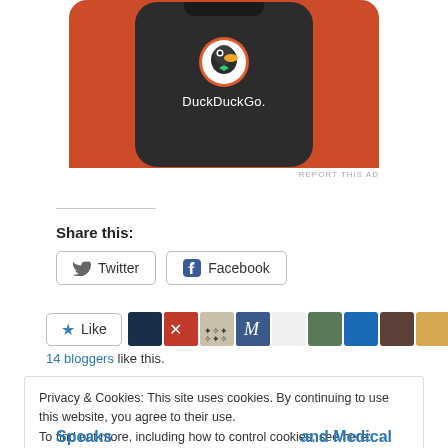[Figure (photo): DuckDuckGo app advertisement showing a phone with DuckDuckGo logo on orange background]
REPORT THIS AD
Share this:
Twitter   Facebook
Like  [blogger avatars]  14 bloggers like this.
Privacy & Cookies: This site uses cookies. By continuing to use this website, you agree to their use.
To find out more, including how to control cookies, see here: Cookie Policy
Close and accept
Speaks   and Medical